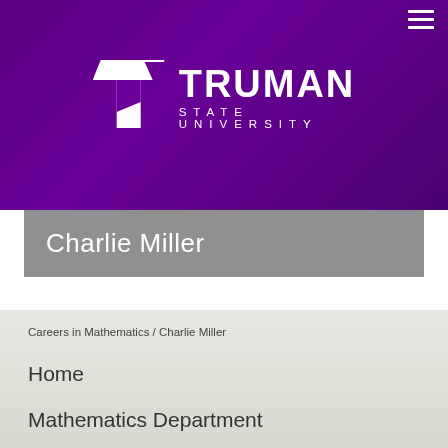[Figure (logo): Truman State University logo — white T-shaped geometric mark and text 'TRUMAN STATE UNIVERSITY' on purple banner background]
Charlie Miller
Careers in Mathematics / Charlie Miller
Home
Mathematics Department